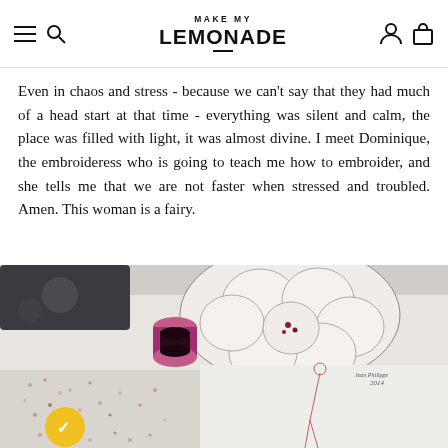MAKE MY LEMONADE
Even in chaos and stress - because we can't say that they had much of a head start at that time - everything was silent and calm, the place was filled with light, it was almost divine. I meet Dominique, the embroideress who is going to teach me how to embroider, and she tells me that we are not faster when stressed and troubled. Amen. This woman is a fairy.
[Figure (photo): Close-up photograph of an embroidery workspace showing embroidery hoops with fabric, a spool of pink thread, scattered beads/sequins, and a Jean-Philippe Leclaire fashion sketch dated 2014 on a white table.]